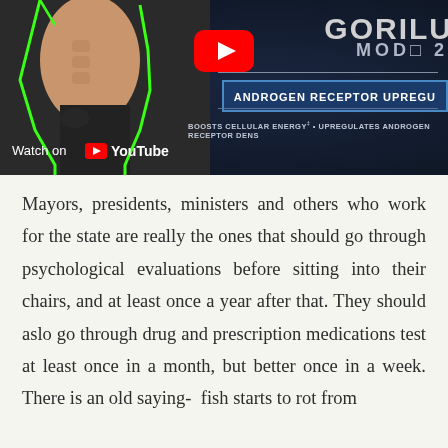[Figure (screenshot): YouTube video thumbnail showing a muscular shirtless man with green outline on the left side, and on the right side text reading 'GORILLA MODE 2', 'ANDROGEN RECEPTOR UPREGU...' in a blue box, 'BOOSTS CELLULAR ENERGY • UPREGULATES ANDROGEN RECEPTOR DENS...' and a YouTube logo with 'Watch on YouTube' text at the bottom left.]
Mayors, presidents, ministers and others who work for the state are really the ones that should go through psychological evaluations before sitting into their chairs, and at least once a year after that. They should aslo go through drug and prescription medications test at least once in a month, but better once in a week. There is an old saying- fish starts to rot from